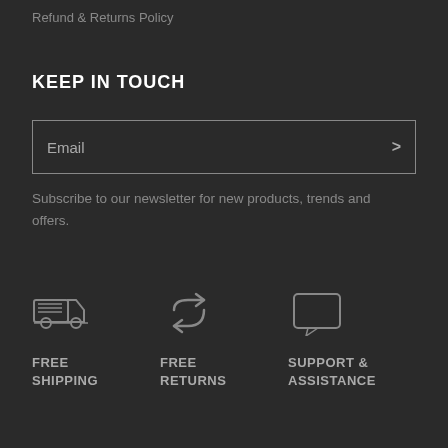Refund & Returns Policy
KEEP IN TOUCH
Email
Subscribe to our newsletter for new products, trends and offers.
[Figure (illustration): Truck icon representing free shipping]
FREE SHIPPING
[Figure (illustration): Return arrow icon representing free returns]
FREE RETURNS
[Figure (illustration): Chat bubble icon representing support and assistance]
SUPPORT & ASSISTANCE